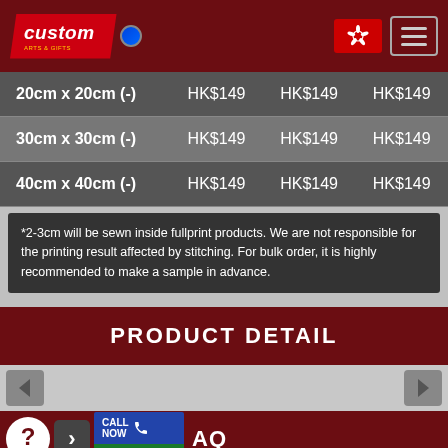custom — HK flag — menu
| Size | Price 1 | Price 2 | Price 3 |
| --- | --- | --- | --- |
| 20cm x 20cm (-) | HK$149 | HK$149 | HK$149 |
| 30cm x 30cm (-) | HK$149 | HK$149 | HK$149 |
| 40cm x 40cm (-) | HK$149 | HK$149 | HK$149 |
*2-3cm will be sewn inside fullprint products. We are not responsible for the printing result affected by stitching. For bulk order, it is highly recommended to make a sample in advance.
PRODUCT DETAIL
FAQ
GALLERY